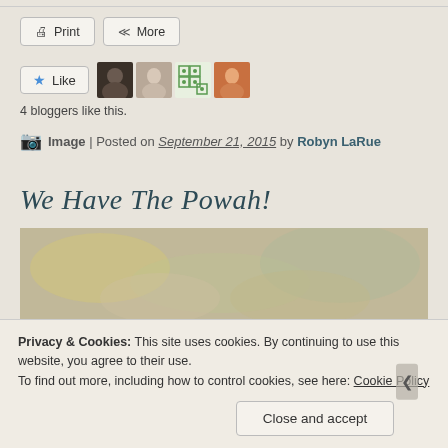Print | More (buttons)
[Figure (screenshot): Like button with star icon, followed by four blogger avatar thumbnails]
4 bloggers like this.
Image | Posted on September 21, 2015 by Robyn LaRue
We Have The Powah!
[Figure (photo): Abstract watercolor-style background image in muted gold, green, and grey tones]
Privacy & Cookies: This site uses cookies. By continuing to use this website, you agree to their use.
To find out more, including how to control cookies, see here: Cookie Policy
Close and accept